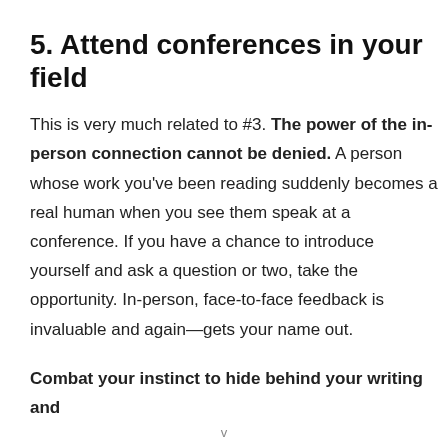5. Attend conferences in your field
This is very much related to #3. The power of the in-person connection cannot be denied. A person whose work you've been reading suddenly becomes a real human when you see them speak at a conference. If you have a chance to introduce yourself and ask a question or two, take the opportunity. In-person, face-to-face feedback is invaluable and again—gets your name out.
Combat your instinct to hide behind your writing and